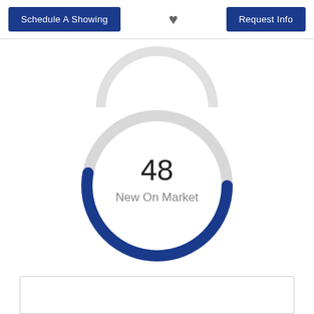Schedule A Showing
[Figure (other): Heart/favorite icon]
Request Info
[Figure (donut-chart): New On Market]
[Figure (other): Partial donut chart at top of page (cropped)]